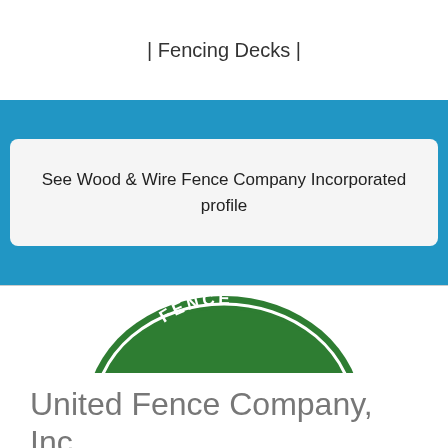| Fencing Decks |
See Wood & Wire Fence Company Incorporated profile
[Figure (logo): United Fence Co., Inc. - green oval logo with yellow 'UNITED' text in the center, 'FENCE' at top and 'CONSTRUCTION' at bottom in white text on green background]
United Fence Company, Inc.